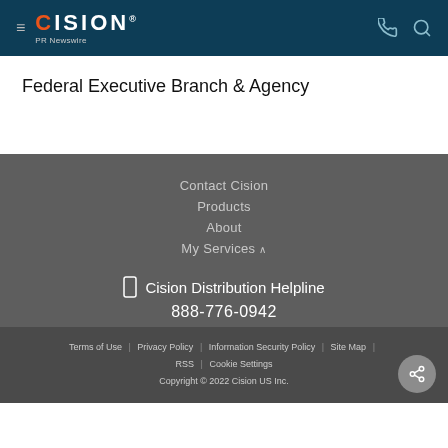CISION PR Newswire
Federal Executive Branch & Agency
Contact Cision
Products
About
My Services
Cision Distribution Helpline
888-776-0942
Terms of Use | Privacy Policy | Information Security Policy | Site Map | RSS | Cookie Settings
Copyright © 2022 Cision US Inc.